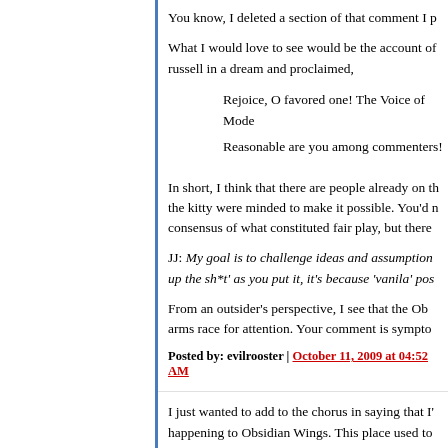You know, I deleted a section of that comment I p
What I would love to see would be the account of russell in a dream and proclaimed,
Rejoice, O favored one! The Voice of Mode Reasonable are you among commenters!
In short, I think that there are people already on th the kitty were minded to make it possible. You'd n consensus of what constituted fair play, but there
JJ: My goal is to challenge ideas and assumption up the sh*t' as you put it, it's because 'vanila' pos
From an outsider's perspective, I see that the Ob arms race for attention. Your comment is sympto
Posted by: evilrooster | October 11, 2009 at 04:52 AM
I just wanted to add to the chorus in saying that I' happening to Obsidian Wings. This place used to overrun by trolls, and the lack of goodwill from the infiltrating the whole debate, so that people who l points to make and an interest in engaging with a